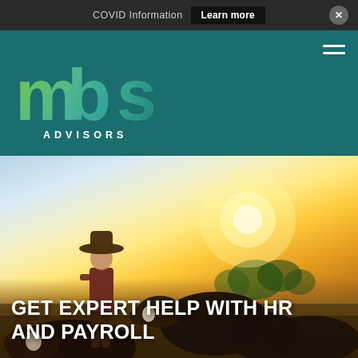COVID Information  Learn more
[Figure (logo): MBS Advisors logo with teal/green gradient letters 'mbs' and 'ADVISORS' text below, on dark teal background]
[Figure (photo): A farmer wearing a hat and plaid shirt standing among cattle in a golden sunlit field]
GET EXPERT HELP WITH HR AND PAYROLL